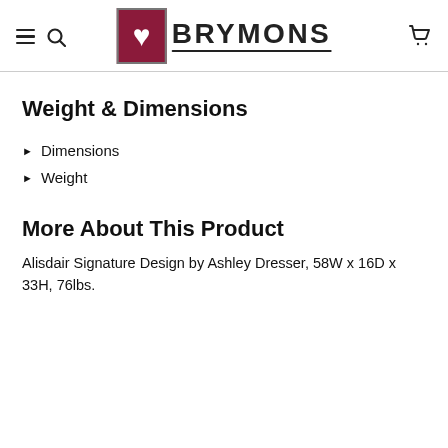BRYMONS
Weight & Dimensions
Dimensions
Weight
More About This Product
Alisdair Signature Design by Ashley Dresser, 58W x 16D x 33H, 76lbs.